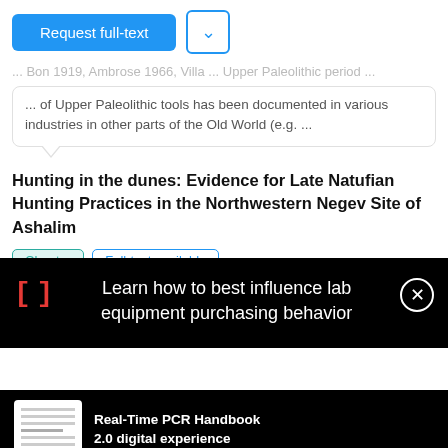[Figure (screenshot): Request full-text button (blue) and chevron/dropdown button (blue outline)]
... Bon 1919, Ambrose 1966, Villa ... Upper Paleolithic period ... of Upper Paleolithic tools has been documented in various industries in other parts of the Old World (e.g. ...
Hunting in the dunes: Evidence for Late Natufian Hunting Practices in the Northwestern Negev Site of Ashalim
Chapter   Full-text available
Jun 2022
[Figure (screenshot): Black overlay advertisement: red bracket icon, text 'Learn how to best influence lab equipment purchasing behavior', close button]
[Figure (screenshot): Black bottom bar with small document thumbnail and text: Real-Time PCR Handbook 2.0 digital experience]